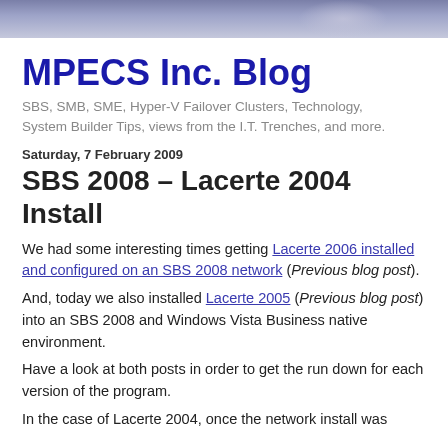[Figure (photo): Dark blue/purple gradient header image with faint reflective highlight on right side]
MPECS Inc. Blog
SBS, SMB, SME, Hyper-V Failover Clusters, Technology, System Builder Tips, views from the I.T. Trenches, and more.
Saturday, 7 February 2009
SBS 2008 – Lacerte 2004 Install
We had some interesting times getting Lacerte 2006 installed and configured on an SBS 2008 network (Previous blog post).
And, today we also installed Lacerte 2005 (Previous blog post) into an SBS 2008 and Windows Vista Business native environment.
Have a look at both posts in order to get the run down for each version of the program.
In the case of Lacerte 2004, once the network install was